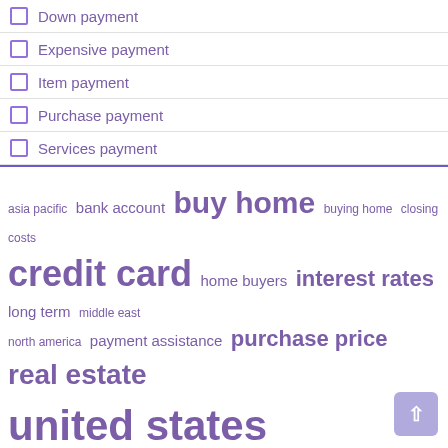Down payment
Expensive payment
Item payment
Purchase payment
Services payment
[Figure (infographic): Word cloud with finance/real estate terms in purple at various font sizes: asia pacific, bank account, buy home, buying home, closing costs, credit card, home buyers, interest rates, long term, middle east, north america, payment assistance, purchase price, real estate, united states]
Recent Posts
ArtsQuest cuts Bethlehem services and Musikfest payment
Business news live today: latest economic news, market news, economic and financial news